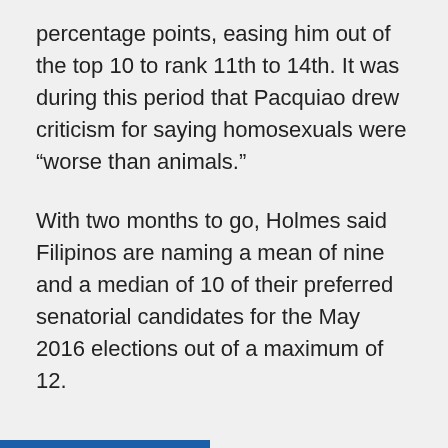percentage points, easing him out of the top 10 to rank 11th to 14th. It was during this period that Pacquiao drew criticism for saying homosexuals were “worse than animals.”
With two months to go, Holmes said Filipinos are naming a mean of nine and a median of 10 of their preferred senatorial candidates for the May 2016 elections out of a maximum of 12.